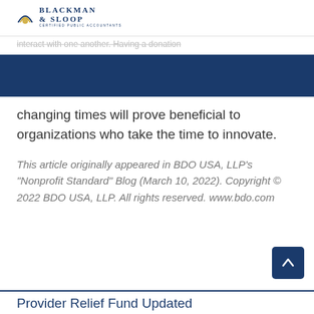Blackman & Sloop Certified Public Accountants
interact with one another. Having a donation
changing times will prove beneficial to organizations who take the time to innovate.
This article originally appeared in BDO USA, LLP's "Nonprofit Standard" Blog (March 10, 2022). Copyright © 2022 BDO USA, LLP. All rights reserved. www.bdo.com
Provider Relief Fund Updated